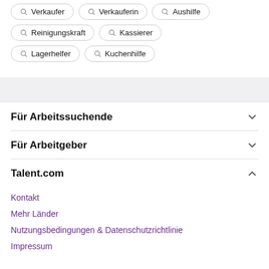Verkaufer
Verkauferin
Aushilfe
Reinigungskraft
Kassierer
Lagerhelfer
Kuchenhilfe
Für Arbeitssuchende
Für Arbeitgeber
Talent.com
Kontakt
Mehr Länder
Nutzungsbedingungen & Datenschutzrichtlinie
Impressum